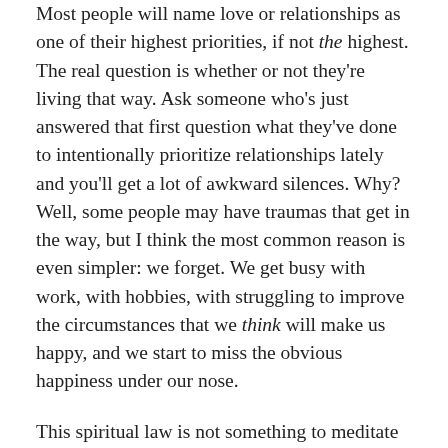Most people will name love or relationships as one of their highest priorities, if not the highest. The real question is whether or not they're living that way. Ask someone who's just answered that first question what they've done to intentionally prioritize relationships lately and you'll get a lot of awkward silences. Why? Well, some people may have traumas that get in the way, but I think the most common reason is even simpler: we forget. We get busy with work, with hobbies, with struggling to improve the circumstances that we think will make us happy, and we start to miss the obvious happiness under our nose.
This spiritual law is not something to meditate on for a week before moving on. This is the base ingredient of all spiritual laws. It is a compass and a North Star to navigate by all day and every day. My best advice is to make it your mantra. Every day, every time a decision presents itself, every time you start something new, ask yourself, "Is this in harmony with my conscience? Is this in harmony with love?" Let these questions change your behavior. Make a